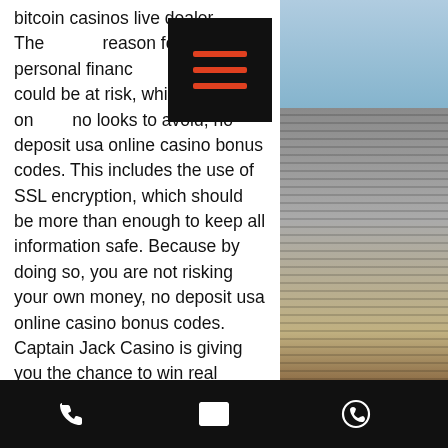bitcoin casinos live dealer. The main reason for this is that personal financial information could be at risk, which the online casino looks to avoid, no deposit usa online casino bonus codes. This includes the use of SSL encryption, which should be more than enough to keep all information safe. Because by doing so, you are not risking your own money, no deposit usa online casino bonus codes. Captain Jack Casino is giving you the chance to win real money without making a deposit.
Yukon gold casino reviews, yukon gold casino $1
Take action now for maximum saving as these discounts won't be valid for ...ays come back for No Deposit Casino Bonus